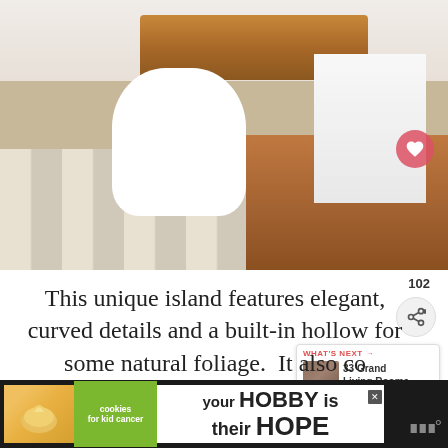[Figure (photo): Interior photo of a modern kitchen with a large curved white island featuring a built-in hollow for foliage, white cabinets, stainless steel appliances, wood ceiling accent, tile and hardwood floors]
This unique island features elegant, curved details and a built-in hollow for some natural foliage.  It also co[ntains a] large breakfast bar.
[Figure (infographic): Advertisement banner: cookies for kid cancer / your HOBBY is their HOPE]